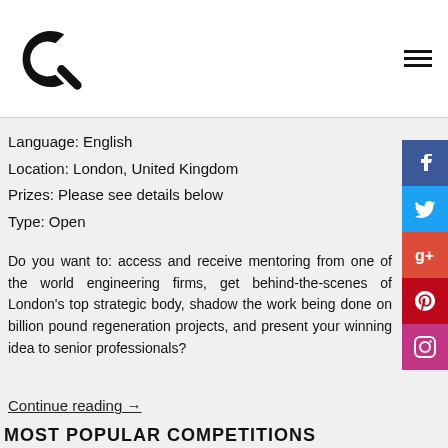Language: English
Location: London, United Kingdom
Prizes: Please see details below
Type: Open
Do you want to: access and receive mentoring from one of the world engineering firms, get behind-the-scenes of London's top strategic body, shadow the work being done on billion pound regeneration projects, and present your winning idea to senior professionals?
Continue reading →
MOST POPULAR COMPETITIONS